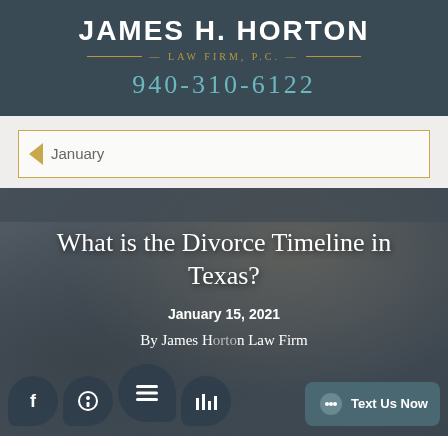JAMES H. HORTON — LAW FIRM, P.C. — 940-310-6122
January
[Figure (photo): Blog post card with background photo of hands signing documents at a desk, overlaid with white text reading 'What is the Divorce Timeline in Texas?' dated January 15, 2021, by James Horton Law Firm. Bottom shows social media and chat icon overlays including a 'Text Us Now' button.]
What is the Divorce Timeline in Texas?
January 15, 2021
By James Horton Law Firm